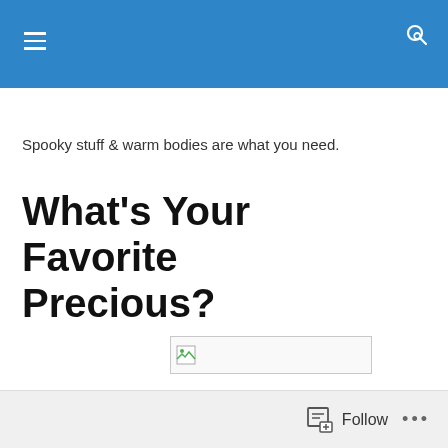Spooky stuff & warm bodies are what you need.
What's Your Favorite Precious?
[Figure (other): Broken/missing image placeholder with small landscape icon]
Follow ...